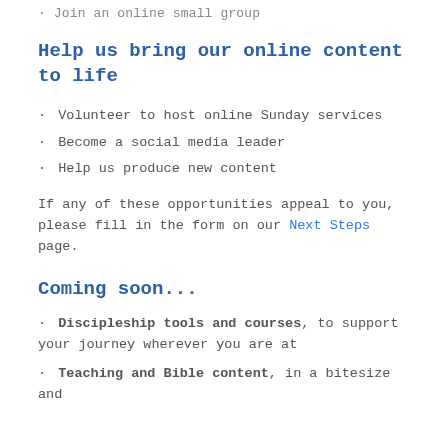Join an online small group
Help us bring our online content to life
Volunteer to host online Sunday services
Become a social media leader
Help us produce new content
If any of these opportunities appeal to you, please fill in the form on our Next Steps page.
Coming soon...
Discipleship tools and courses, to support your journey wherever you are at
Teaching and Bible content, in a bitesize and